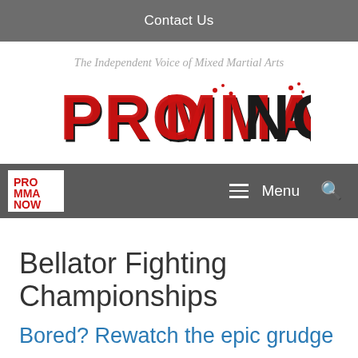Contact Us
The Independent Voice of Mixed Martial Arts
[Figure (logo): Pro MMA Now logo in red and black stylized text]
[Figure (logo): Pro MMA Now small navigation logo in red, white and black]
≡ Menu
Bellator Fighting Championships
Bored? Rewatch the epic grudge